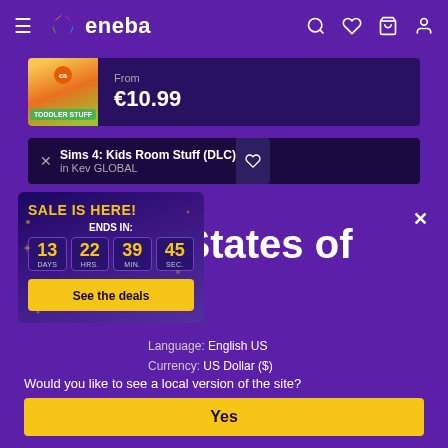eneba
[Figure (screenshot): Toddler Stuff game card with price: From €10.99]
Sims 4: Kids Room Stuff (DLC) in Kev GLOBAL
[Figure (screenshot): Sale is here popup with countdown: 13 DAYS, 22 HRS., 39 MIN., 45 SEC. and See the deals button]
d States of ica
Language: English US
Currency: US Dollar ($)
Would you like to see a local version of the site?
Yes